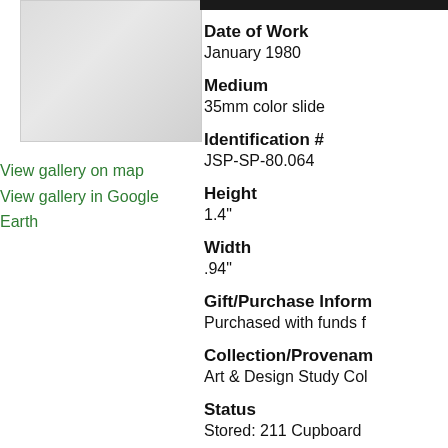[Figure (photo): Map or aerial image thumbnail, light gray]
View gallery on map
View gallery in Google Earth
[Figure (photo): Partial photograph visible at top right]
Date of Work
January 1980
Medium
35mm color slide
Identification #
JSP-SP-80.064
Height
1.4"
Width
.94"
Gift/Purchase Information
Purchased with funds f
Collection/Provenance
Art & Design Study Col
Status
Stored: 211 Cupboard